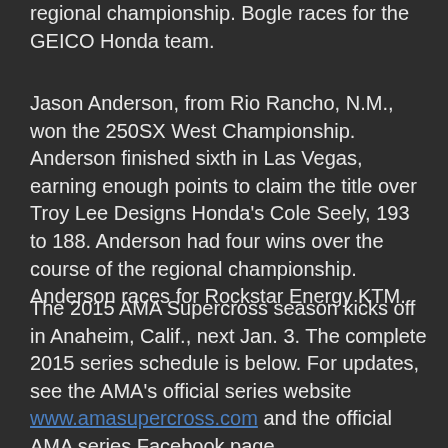regional championship. Bogle races for the GEICO Honda team.
Jason Anderson, from Rio Rancho, N.M., won the 250SX West Championship. Anderson finished sixth in Las Vegas, earning enough points to claim the title over Troy Lee Designs Honda's Cole Seely, 193 to 188. Anderson had four wins over the course of the regional championship. Anderson races for Rockstar Energy KTM.
The 2015 AMA Supercross season kicks off in Anaheim, Calif., next Jan. 3. The complete 2015 series schedule is below. For updates, see the AMA's official series website www.amasupercross.com and the official AMA series Facebook page www.facebook.com/AMASupercrossChampionship.